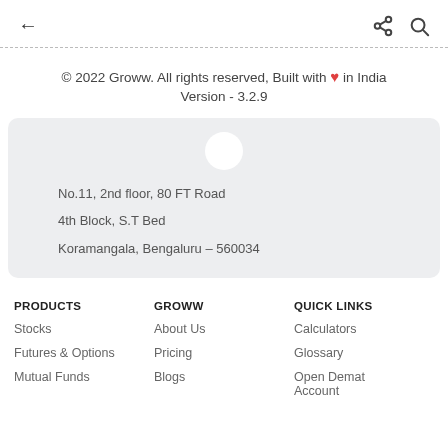← (back arrow) | share icon | search icon
© 2022 Groww. All rights reserved, Built with ❤ in India
Version - 3.2.9
No.11, 2nd floor, 80 FT Road
4th Block, S.T Bed
Koramangala, Bengaluru – 560034
PRODUCTS
GROWW
QUICK LINKS
Stocks
Futures & Options
Mutual Funds
About Us
Pricing
Blogs
Calculators
Glossary
Open Demat Account